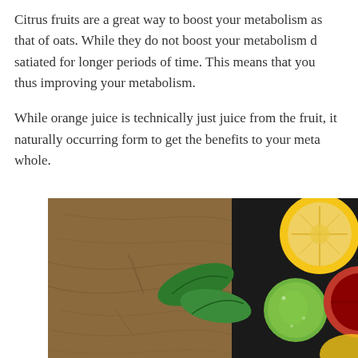Citrus fruits are a great way to boost your metabolism as that of oats. While they do not boost your metabolism d satiated for longer periods of time. This means that you thus improving your metabolism.
While orange juice is technically just juice from the fruit, it naturally occurring form to get the benefits to your meta whole.
[Figure (photo): Photo of various citrus fruits (lemon halved, lime, blood orange halved) arranged on a dark background on the right side, with a wooden board texture on the left side, and green leaves in the center.]